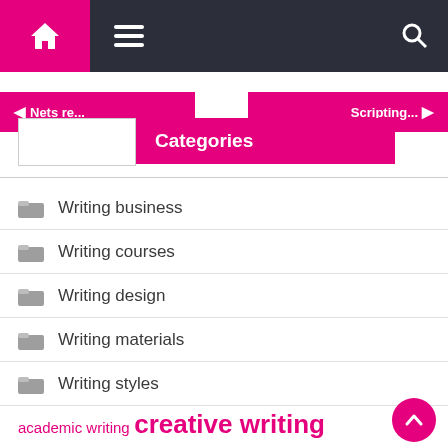Navigation bar with home, menu, and search icons
Categories
Writing business
Writing courses
Writing design
Writing materials
Writing styles
academic writing  creative writing  high school  north america  online writing  research report